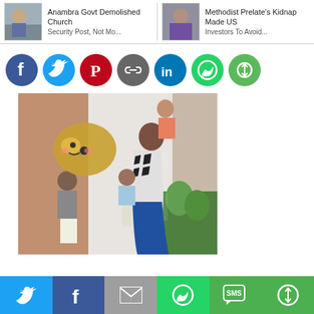[Figure (screenshot): News article thumbnails: 'Anambra Govt Demolished Church Security Post, Not Mo...' and 'Methodist Prelate's Kidnap Made US Investors To Avoid...']
[Figure (screenshot): Social media share icons: Facebook, Twitter, Pinterest, Link, LinkedIn, WhatsApp, More]
[Figure (photo): Family photo showing a woman in zebra-print dress holding two children, with two more children standing in front, outdoors with plants]
[Figure (screenshot): Bottom share bar with Twitter, Facebook, Email, WhatsApp, SMS, and More buttons]